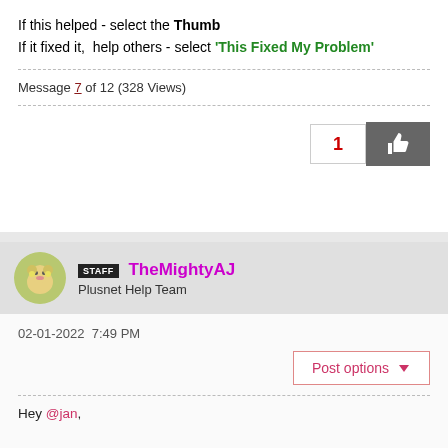If this helped - select the Thumb
If it fixed it,  help others - select 'This Fixed My Problem'
Message 7 of 12 (328 Views)
[Figure (other): Like button with count 1 and thumbs-up icon]
STAFF TheMightyAJ
Plusnet Help Team
02-01-2022 7:49 PM
Post options
Hey @jan,

I'm sorry to hear that you've been having issues with the connection lately. I've just run a speedtest and whilst I can